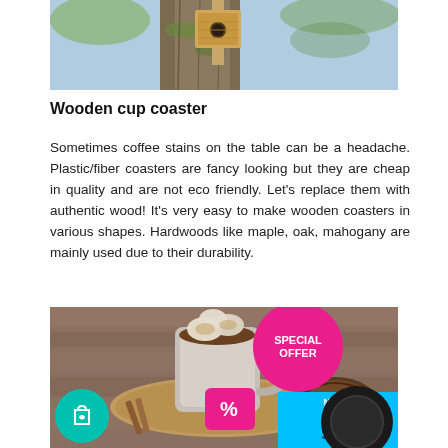[Figure (photo): Photo of a wooden birdhouse attached to a tree trunk against a blue sky background]
Wooden cup coaster
Sometimes coffee stains on the table can be a headache. Plastic/fiber coasters are fancy looking but they are cheap in quality and are not eco friendly. Let's replace them with authentic wood! It's very easy to make wooden coasters in various shapes. Hardwoods like maple, oak, mahogany are mainly used due to their durability.
[Figure (photo): Photo of a mug of hot chocolate with marshmallows on a wooden coaster, with cinnamon sticks and a bowl of cocoa powder, overlaid with promotional UI elements: a teal circle with shopping bag icon, a pink square with % icon, a pink circle with SPECIAL OFFER text, a dark circle, a cyan bar with timer 30:00, and a Not Registered label]